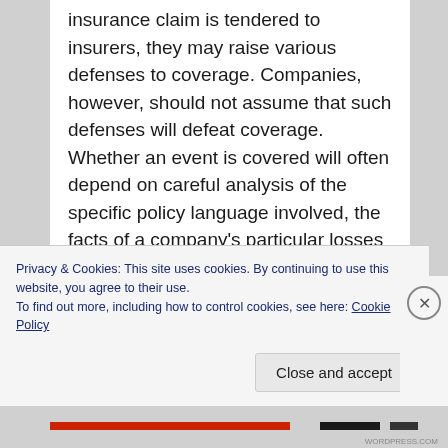insurance claim is tendered to insurers, they may raise various defenses to coverage. Companies, however, should not assume that such defenses will defeat coverage. Whether an event is covered will often depend on careful analysis of the specific policy language involved, the facts of a company's particular losses and the law of the applicable jurisdiction. Insurance carriers may take a hard line regarding the application of the exclusions in their policies.  For example, under certain insurance policies, there is
Privacy & Cookies: This site uses cookies. By continuing to use this website, you agree to their use.
To find out more, including how to control cookies, see here: Cookie Policy